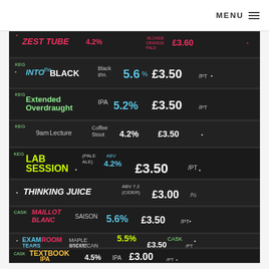MENU ☰
[Figure (photo): Chalkboard beer menu listing multiple beers with ABV and prices: Zest Tube 4.2% £3.60, KEG Into The Black Black IPA 5.6% £3.50/pt, KEG Extended Overdraught IPA 5.2% £3.50/pt, KEG 9am Lecture Coffee Stout 4.2% £3.50, KEG Lab Session (Pale Ale) ABV 4.2% £3.50/pt, Thinking Juice ABV 7.2 (Cider) £3.00/½, CASK Maillot Blanc Saison 5.6% £3.50/pt, Exam Room Tears Maple and Pecan Stout 5.5% CASK £3.50/pt, CASK Textbook IPA 4.5% IPA £3.00/pt]